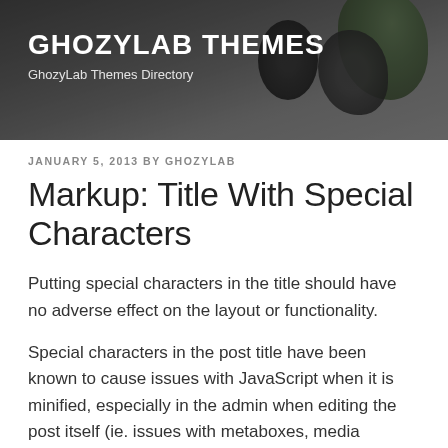[Figure (photo): Header banner with dark background showing blurred plants/vases and overlaid site title]
GHOZYLAB THEMES
GhozyLab Themes Directory
JANUARY 5, 2013 BY GHOZYLAB
Markup: Title With Special Characters
Putting special characters in the title should have no adverse effect on the layout or functionality.
Special characters in the post title have been known to cause issues with JavaScript when it is minified, especially in the admin when editing the post itself (ie. issues with metaboxes, media upload, etc.).